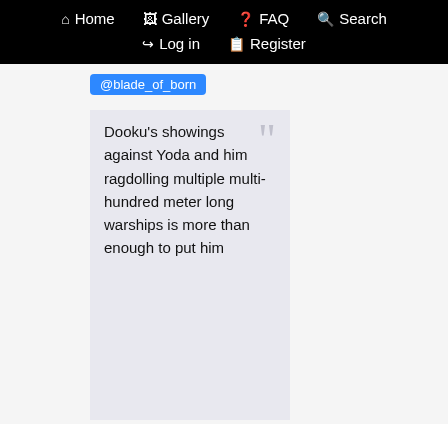Home  Gallery  FAQ  Search  Log in  Register
@blade_of_born
Dooku's showings against Yoda and him ragdolling multiple multi-hundred meter long warships is more than enough to put him